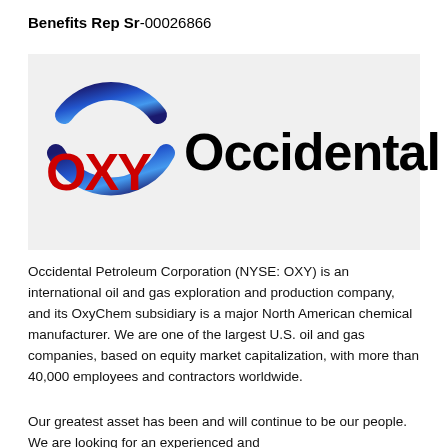Benefits Rep Sr-00026866
[Figure (logo): OXY Occidental Petroleum logo: blue arc ring surrounding the letters OXY in red bold text, followed by the word Occidental in large black bold text, on a light gray background.]
Occidental Petroleum Corporation (NYSE: OXY) is an international oil and gas exploration and production company, and its OxyChem subsidiary is a major North American chemical manufacturer. We are one of the largest U.S. oil and gas companies, based on equity market capitalization, with more than 40,000 employees and contractors worldwide.
Our greatest asset has been and will continue to be our people.  We are looking for an experienced and